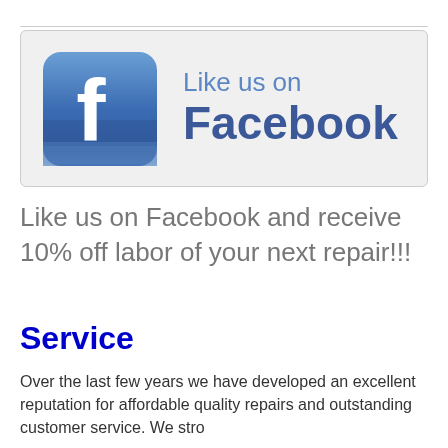[Figure (logo): Facebook 'Like us on Facebook' banner with the Facebook icon (white f on blue rounded square gradient) on the left and 'Like us on Facebook' text in blue on the right, on a light grey background.]
Like us on Facebook and receive 10% off labor of your next repair!!!
Service
Over the last few years we have developed an excellent reputation for affordable quality repairs and outstanding customer service. We stro...